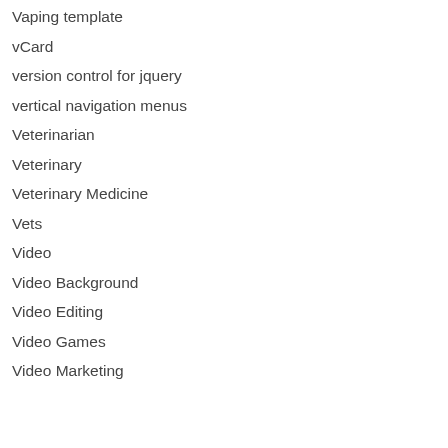Vaping template
vCard
version control for jquery
vertical navigation menus
Veterinarian
Veterinary
Veterinary Medicine
Vets
Video
Video Background
Video Editing
Video Games
Video Marketing